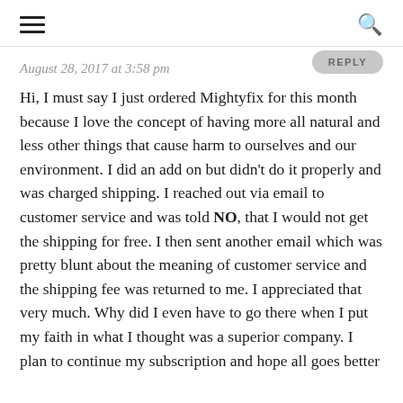≡ 🔍
REPLY
August 28, 2017 at 3:58 pm
Hi, I must say I just ordered Mightyfix for this month because I love the concept of having more all natural and less other things that cause harm to ourselves and our environment. I did an add on but didn't do it properly and was charged shipping. I reached out via email to customer service and was told NO, that I would not get the shipping for free. I then sent another email which was pretty blunt about the meaning of customer service and the shipping fee was returned to me. I appreciated that very much. Why did I even have to go there when I put my faith in what I thought was a superior company. I plan to continue my subscription and hope all goes better